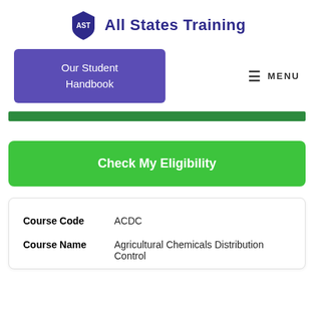[Figure (logo): All States Training logo with AST shield icon and text]
Our Student Handbook
MENU
Check My Eligibility
| Course Code | ACDC |
| Course Name | Agricultural Chemicals Distribution Control |